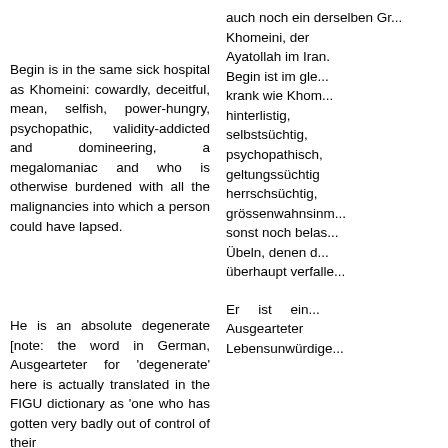Begin is in the same sick hospital as Khomeini: cowardly, deceitful, mean, selfish, power-hungry, psychopathic, validity-addicted and domineering, a megalomaniac and who is otherwise burdened with all the malignancies into which a person could have lapsed.
auch noch ein derselben Gr... Khomeini, der Ayatollah im Iran. Begin ist im gle... krank wie Khom... hinterlistig, selbstsüchtig, psychopathisch, geltungssüchtig herrschsüchtig, grössenwahnsinn... sonst noch belas... Übeln, denen d... überhaupt verfalle...
He is an absolute degenerate [note: the word in German, Ausgearteter for 'degenerate' here is actually translated in the FIGU dictionary as 'one who has gotten very badly out of control of their
Er ist ein... Ausgearteter Lebensunwürdige...